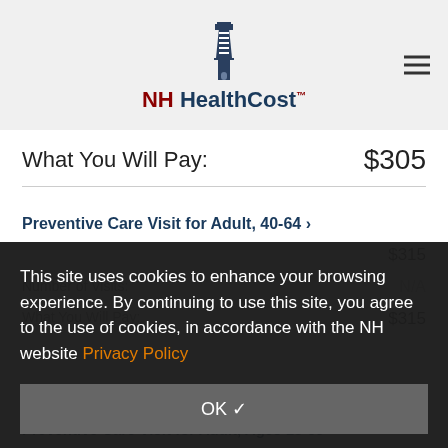NH HealthCost™
What You Will Pay: $305
Preventive Care Visit for Adult, 40-64 ›
$315
Number of Visits: N/A
What You Will Pay: $315
This site uses cookies to enhance your browsing experience. By continuing to use this site, you agree to the use of cookies, in accordance with the NH website Privacy Policy
OK ✓
Preventive Care Visit for Adult, Ages 18-39 ›